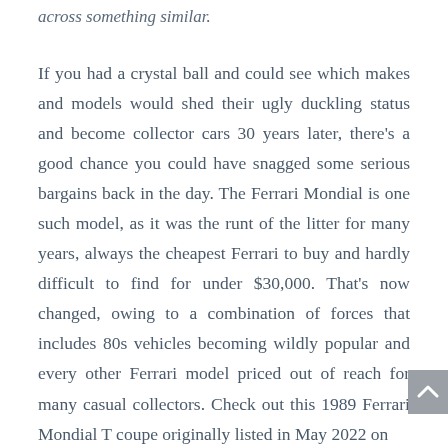across something similar.
If you had a crystal ball and could see which makes and models would shed their ugly duckling status and become collector cars 30 years later, there's a good chance you could have snagged some serious bargains back in the day. The Ferrari Mondial is one such model, as it was the runt of the litter for many years, always the cheapest Ferrari to buy and hardly difficult to find for under $30,000. That's now changed, owing to a combination of forces that includes 80s vehicles becoming wildly popular and every other Ferrari model priced out of reach for many casual collectors. Check out this 1989 Ferrari Mondial T coupe originally listed in May 2022 on